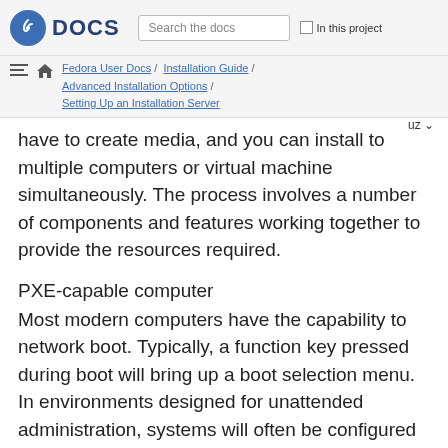DOCS | Search the docs | In this project
Fedora User Docs / Installation Guide / Advanced Installation Options / Setting Up an Installation Server | uz
have to create media, and you can install to multiple computers or virtual machine simultaneously. The process involves a number of components and features working together to provide the resources required.
PXE-capable computer
Most modern computers have the capability to network boot. Typically, a function key pressed during boot will bring up a boot selection menu. In environments designed for unattended administration, systems will often be configured to first attempt booting from the network, then boot